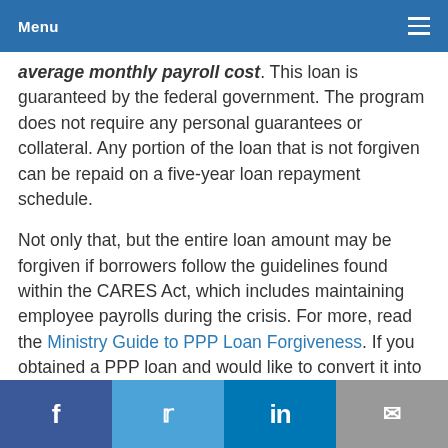Menu
average monthly payroll cost. This loan is guaranteed by the federal government. The program does not require any personal guarantees or collateral. Any portion of the loan that is not forgiven can be repaid on a five-year loan repayment schedule.
Not only that, but the entire loan amount may be forgiven if borrowers follow the guidelines found within the CARES Act, which includes maintaining employee payrolls during the crisis. For more, read the Ministry Guide to PPP Loan Forgiveness. If you obtained a PPP loan and would like to convert it into a grant, see Applying for
Facebook | Twitter | LinkedIn | Email